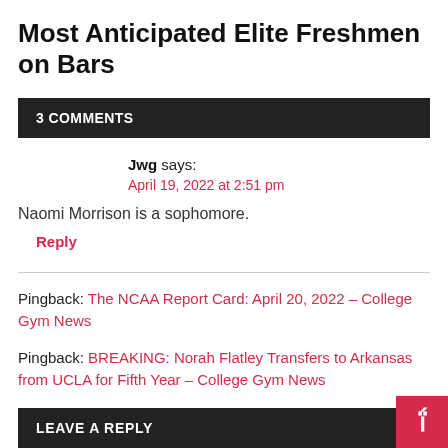Most Anticipated Elite Freshmen on Bars
3 COMMENTS
Jwg says:
April 19, 2022 at 2:51 pm
Naomi Morrison is a sophomore.
Reply
Pingback: The NCAA Report Card: April 20, 2022 – College Gym News
Pingback: BREAKING: Norah Flatley Transfers to Arkansas from UCLA for Fifth Year – College Gym News
LEAVE A REPLY